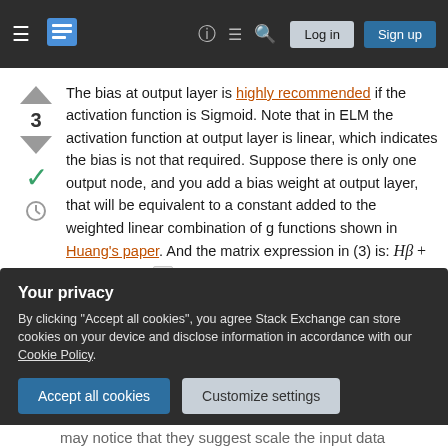Stack Exchange navigation bar with hamburger menu, logo, help, chat, search icons, Log in and Sign up buttons
The bias at output layer is highly recommended if the activation function is Sigmoid. Note that in ELM the activation function at output layer is linear, which indicates the bias is not that required. Suppose there is only one output node, and you add a bias weight at output layer, that will be equivalent to a constant added to the weighted linear combination of g functions shown in Huang's paper. And the matrix expression in (3) is: Hβ + b = T, where b =
Your privacy
By clicking "Accept all cookies", you agree Stack Exchange can store cookies on your device and disclose information in accordance with our Cookie Policy.
Accept all cookies   Customize settings
may notice that they suggest scale the input data